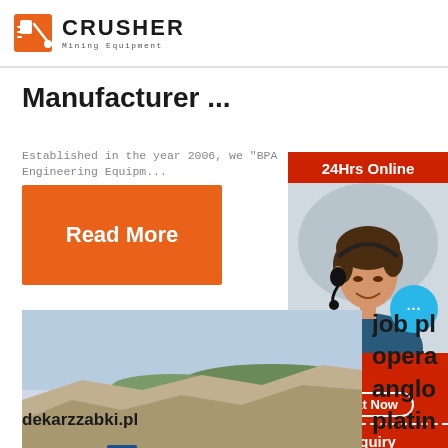CRUSHER Mining Equipment
Manufacturer ...
Established in the year 2006, we “BPA Engineering Equipm...
Read More
[Figure (infographic): Right sidebar with red background showing: '24Hrs Online' header, photo of woman with headset, chat bubble with '...' icon, 'Need & sugg...' text, 'Chat Now' button, 'Enquiry' section, and email 'limingjlmofen@sina.com']
[Figure (photo): Mining quarry with rock face, blue crushing equipment and machinery on the quarry floor, conveyor belts, yellow vehicle visible]
job pl opera anglo platin
dekarzzabki.pl